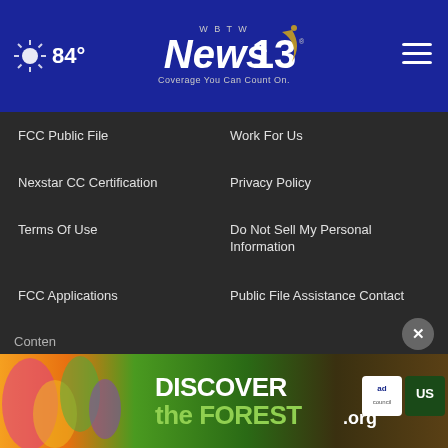84° WBTW News 13 Coverage You Can Count On.
FCC Public File
Work For Us
Nexstar CC Certification
Privacy Policy
Terms Of Use
Do Not Sell My Personal Information
FCC Applications
Public File Assistance Contact
The Hill
NewsNation
BestReviews
Content
[Figure (screenshot): Advertisement banner for DiscovertheForest.org with colorful nature imagery, ad council and US Forest Service logos]